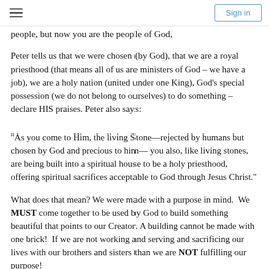Sign in
people, but now you are the people of God,
Peter tells us that we were chosen (by God), that we are a royal priesthood (that means all of us are ministers of God – we have a job), we are a holy nation (united under one King), God's special possession (we do not belong to ourselves) to do something – declare HIS praises. Peter also says:
“As you come to Him, the living Stone—rejected by humans but chosen by God and precious to him— you also, like living stones, are being built into a spiritual house to be a holy priesthood, offering spiritual sacrifices acceptable to God through Jesus Christ.”
What does that mean? We were made with a purpose in mind.  We MUST come together to be used by God to build something beautiful that points to our Creator. A building cannot be made with one brick!  If we are not working and serving and sacrificing our lives with our brothers and sisters than we are NOT fulfilling our purpose!